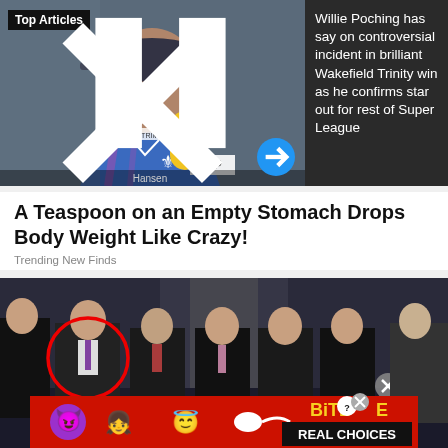[Figure (screenshot): Video thumbnail showing a rugby player being interviewed with a microphone labeled PS and WP, wearing a blue jersey with a fleur-de-lis logo. Top Articles badge visible. Video controls shown at bottom.]
Willie Poching has say on controversial incident in brilliant Wakefield Trinity win as he confirms star out for rest of Super League
A Teaspoon on an Empty Stomach Drops Body Weight Like Crazy!
Trending New Finds
[Figure (photo): Group photo of several men in suits standing in a formal hallway, one circled in red. A BitLife Real Choices advertisement banner overlays the bottom of the image.]